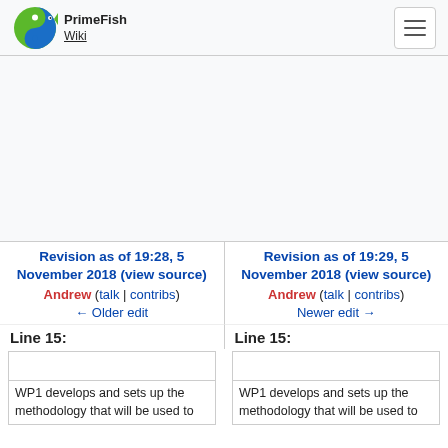PrimeFish Wiki
[Figure (other): Advertisement area (blank/placeholder)]
Revision as of 19:28, 5 November 2018 (view source)
Andrew (talk | contribs)
← Older edit
Revision as of 19:29, 5 November 2018 (view source)
Andrew (talk | contribs)
Newer edit →
Line 15:
Line 15:
WP1 develops and sets up the methodology that will be used to
WP1 develops and sets up the methodology that will be used to